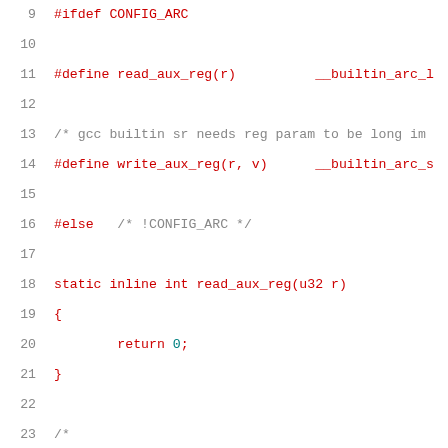Code listing showing C preprocessor directives and inline functions for ARC architecture register access, lines 9-30.